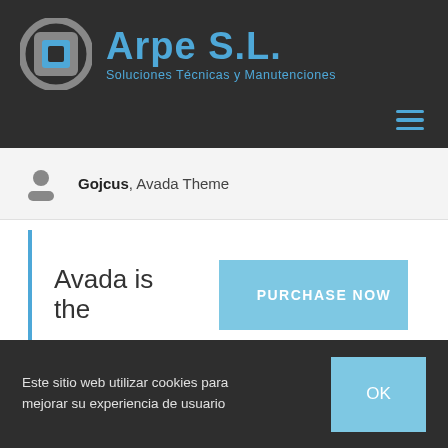[Figure (logo): Arpe S.L. logo with gear/connector icon in grey and blue, company name in blue bold text, and tagline 'Soluciones Técnicas y Manutenciones' in blue]
[Figure (other): Hamburger menu icon (three horizontal blue lines) in top right of dark header]
Gojcus, Avada Theme
Avada is the
PURCHASE NOW
Este sitio web utilizar cookies para mejorar su experiencia de usuario
OK